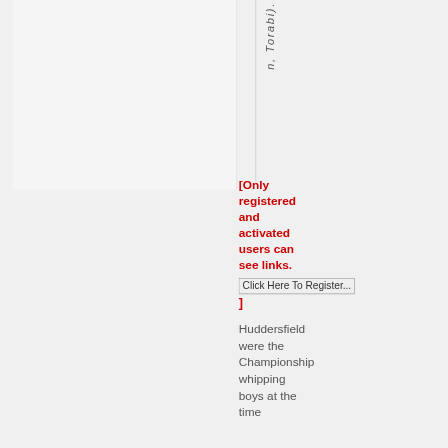n, Torabi).
[Only registered and activated users can see links. Click Here To Register... ]
Huddersfield were the Championship whipping boys at the time